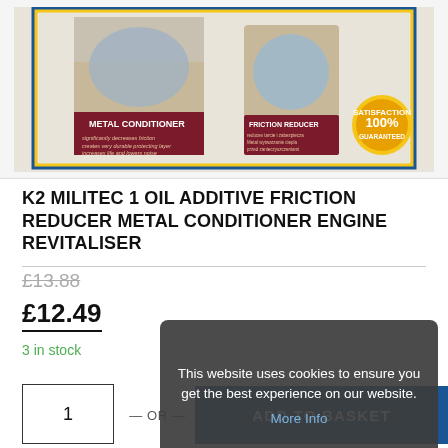[Figure (photo): Product photo of K2 Militec 1 Metal Conditioner and Friction Reducer cans/box with blue and yellow border, 100% satisfaction guaranteed badge]
K2 MILITEC 1 OIL ADDITIVE FRICTION REDUCER METAL CONDITIONER ENGINE REVITALISER
£13.88 (strikethrough)
£12.49
3 in stock
1
— OR —
ADD TO BASKET
This website uses cookies to ensure you get the best experience on our website. More Info